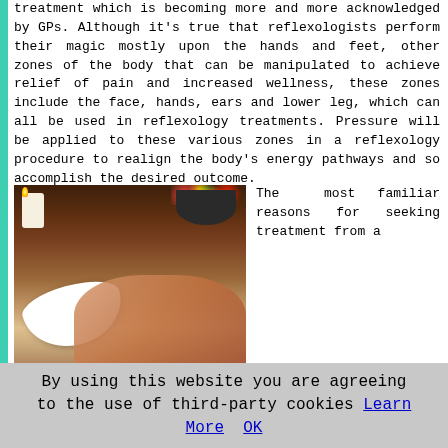treatment which is becoming more and more acknowledged by GPs. Although it's true that reflexologists perform their magic mostly upon the hands and feet, other zones of the body that can be manipulated to achieve relief of pain and increased wellness, these zones include the face, hands, ears and lower leg, which can all be used in reflexology treatments. Pressure will be applied to these various zones in a reflexology procedure to realign the body's energy pathways and so accomplish the desired outcome.
[Figure (photo): A reflexology treatment session showing a therapist's hands working on a client's foot/leg, with a white towel roll, candle, and flower bowl visible on a dark wooden table]
The most familiar reasons for seeking treatment from a
reflexologist include such ailments as: migraines/headaches, bladder problems, irritable bowel
By using this website you are agreeing to the use of third-party cookies Learn More OK